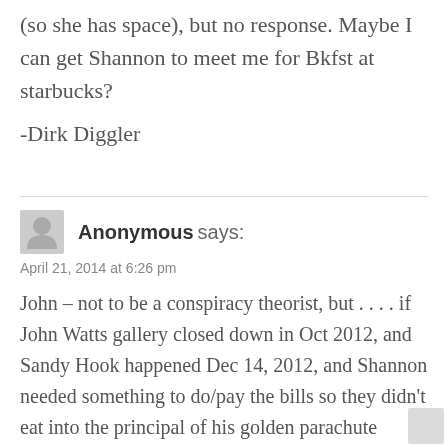(so she has space), but no response. Maybe I can get Shannon to meet me for Bkfst at starbucks?
-Dirk Diggler
Anonymous says:
April 21, 2014 at 6:26 pm
John – not to be a conspiracy theorist, but . . . . if John Watts gallery closed down in Oct 2012, and Sandy Hook happened Dec 14, 2012, and Shannon needed something to do/pay the bills so they didn't eat into the principal of his golden parachute (interest rates are a